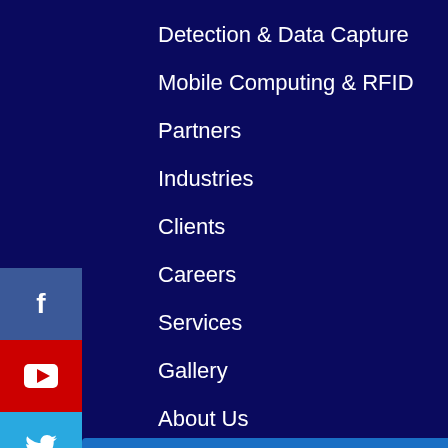Detection & Data Capture
Mobile Computing & RFID
Partners
Industries
Clients
Careers
Services
Gallery
About Us
Contact US
Case Study
Knowledge Base
[Figure (infographic): Social media icon buttons stacked vertically on the left side: Facebook (blue), YouTube (red), Twitter (light blue), Google+ (red-orange), LinkedIn (blue)]